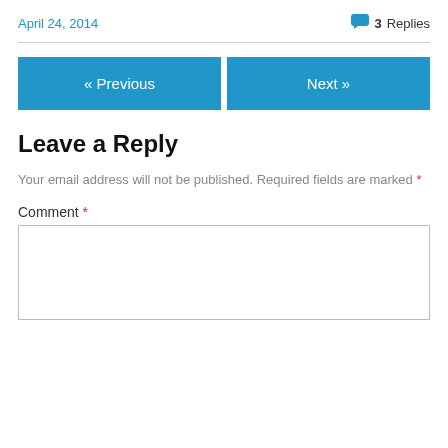April 24, 2014
3 Replies
« Previous
Next »
Leave a Reply
Your email address will not be published. Required fields are marked *
Comment *